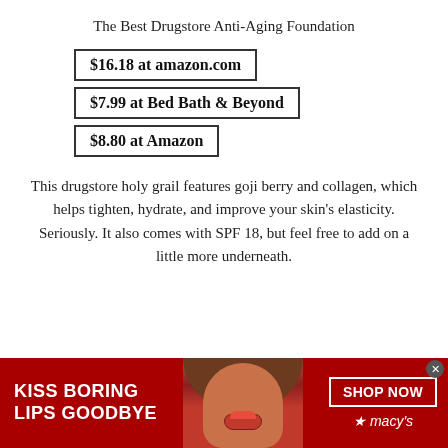The Best Drugstore Anti-Aging Foundation
$16.18 at amazon.com
$7.99 at Bed Bath & Beyond
$8.80 at Amazon
This drugstore holy grail features goji berry and collagen, which helps tighten, hydrate, and improve your skin's elasticity. Seriously. It also comes with SPF 18, but feel free to add on a little more underneath.
[Figure (illustration): Macy's advertisement banner with red background showing a woman with red lips, text 'KISS BORING LIPS GOODBYE' on the left, a face photo in the center, and 'SHOP NOW' button with Macy's star logo on the right]